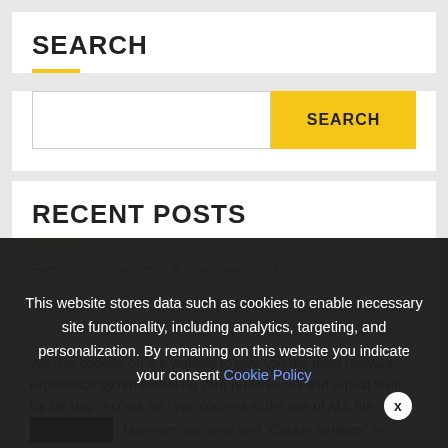SEARCH
[Figure (other): Search input box with yellow SEARCH button]
RECENT POSTS
Dressing for Success: A Information to Muslim
We use cookies on our website to give you the most relevant experience by remembering your preferences and repeat visits. By clicking “Accept All”, you consent to the use of ALL the cookies. However, you may visit “Cookie Settings” to provide a controlled consent.
This website stores data such as cookies to enable necessary site functionality, including analytics, targeting, and personalization. By remaining on this website you indicate your consent Cookie Policy